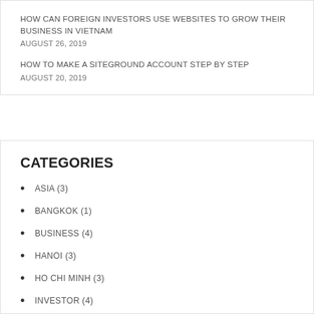HOW CAN FOREIGN INVESTORS USE WEBSITES TO GROW THEIR BUSINESS IN VIETNAM
AUGUST 26, 2019
HOW TO MAKE A SITEGROUND ACCOUNT STEP BY STEP
AUGUST 20, 2019
CATEGORIES
ASIA (3)
BANGKOK (1)
BUSINESS (4)
HANOI (3)
HO CHI MINH (3)
INVESTOR (4)